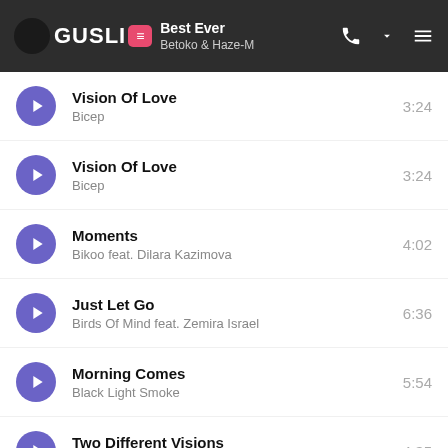GUSLI — Best Ever / Betoko & Haze-M
Vision Of Love — Bicep — 3:24
Vision Of Love — Bicep — 3:24
Moments — Bikoo feat. Dilara Kazimova — 4:02
Just Let Go — Birds Of Mind feat. Zemira Israel — 6:36
Morning Comes — Black Light Smoke — 5:54
Two Different Visions — BNVK — 4:35